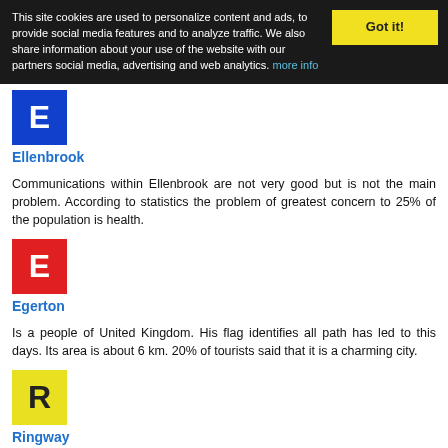This site cookies are used to personalize content and ads, to provide social media features and to analyze traffic. We also share information about your use of the website with our partners social media, advertising and web analytics. more info
Ellenbrook
Communications within Ellenbrook are not very good but is not the main problem. According to statistics the problem of greatest concern to 25% of the population is health.
Egerton
Is a people of United Kingdom. His flag identifies all path has led to this days. Its area is about 6 km. 20% of tourists said that it is a charming city.
Ringway
It is one of the most important cities of the country. Ringway is within 14% of relevant cities in United Kingdom. Has 4 pools.